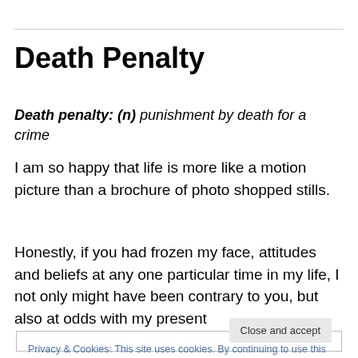Death Penalty
Death penalty: (n) punishment by death for a crime
I am so happy that life is more like a motion picture than a brochure of photo shopped stills.
Honestly, if you had frozen my face, attitudes and beliefs at any one particular time in my life, I not only might have been contrary to you, but also at odds with my present
Privacy & Cookies: This site uses cookies. By continuing to use this website, you agree to their use.
To find out more, including how to control cookies, see here: Cookie Policy